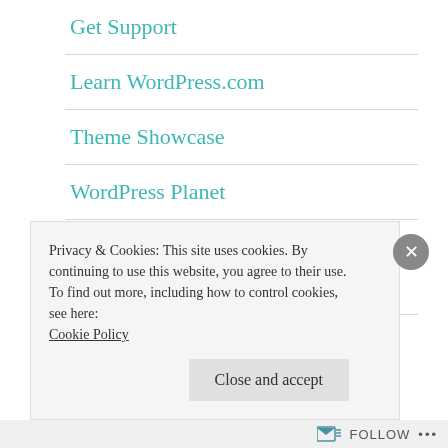Get Support
Learn WordPress.com
Theme Showcase
WordPress Planet
WordPress.com News
Privacy & Cookies: This site uses cookies. By continuing to use this website, you agree to their use.
To find out more, including how to control cookies, see here: Cookie Policy
FOLLOW ...